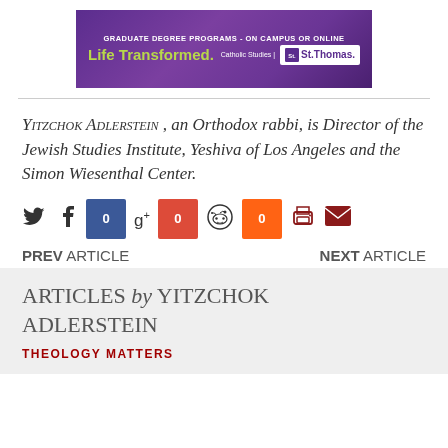[Figure (other): University of St. Thomas advertisement banner: 'GRADUATE DEGREE PROGRAMS - ON CAMPUS OR ONLINE / Life Transformed. / Catholic Studies | St. Thomas logo']
YITZCHOK ADLERSTEIN , an Orthodox rabbi, is Director of the Jewish Studies Institute, Yeshiva of Los Angeles and the Simon Wiesenthal Center.
[Figure (other): Social sharing icons row: Twitter, Facebook with count 0, Google+ with count 0, Reddit with count 0, Print, Email]
PREV ARTICLE    NEXT ARTICLE
ARTICLES by YITZCHOK ADLERSTEIN
THEOLOGY MATTERS